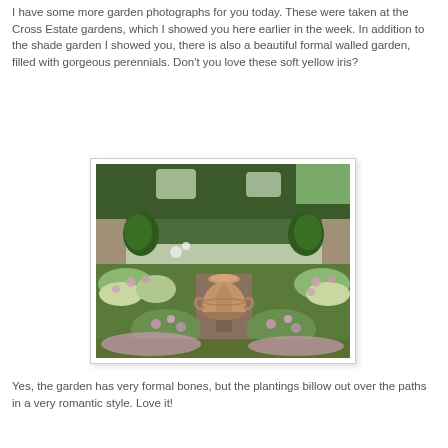I have some more garden photographs for you today.  These were taken at the Cross Estate gardens, which I showed you here earlier in the week.  In addition to the shade garden I showed you, there is also a beautiful formal walled garden, filled with gorgeous perennials.  Don't you love these soft yellow iris?
[Figure (photo): A formal walled garden at Cross Estate featuring a large terracotta/clay urn as a central focal point, surrounded by lush green plants, flowering perennials, and garden paths with trees in the background.]
Yes, the garden has  very formal bones, but the plantings billow out over the paths in a very romantic style.  Love it!